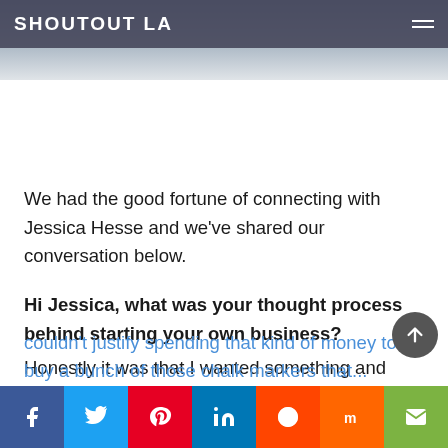SHOUTOUT LA
[Figure (photo): Partial hero image with blurred background photo visible at top of page]
We had the good fortune of connecting with Jessica Hesse and we’ve shared our conversation below.
Hi Jessica, what was your thought process behind starting your own business?
Honestly it was that I wanted something and couldn’t justify spending that kind of money to buy a bunch of those chalk markers that...